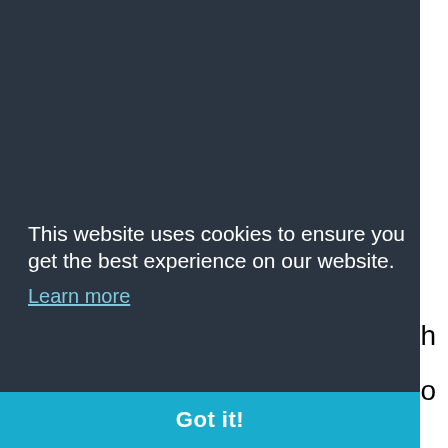situation – what other marketing companies would they recommend you speaking to.  Those marketing companies who have the customer's best interests at heart will recommend someone who they either think are a good fit, or will offer a contrasting approach (to compare).  Those who only care about the sale will struggle to bring themselves to recommend anyone else.
This website uses cookies to ensure you get the best experience on our website.
Learn more
Got it!
reasons for their approach and their